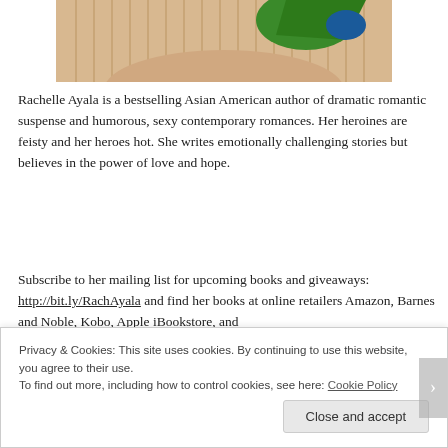[Figure (photo): Photo of a person in a striped shirt holding a green and blue parrot/bird]
Rachelle Ayala is a bestselling Asian American author of dramatic romantic suspense and humorous, sexy contemporary romances. Her heroines are feisty and her heroes hot. She writes emotionally challenging stories but believes in the power of love and hope.
Subscribe to her mailing list for upcoming books and giveaways: http://bit.ly/RachAyala and find her books at online retailers Amazon, Barnes and Noble, Kobo, Apple iBookstore, and
Privacy & Cookies: This site uses cookies. By continuing to use this website, you agree to their use.
To find out more, including how to control cookies, see here: Cookie Policy
Close and accept